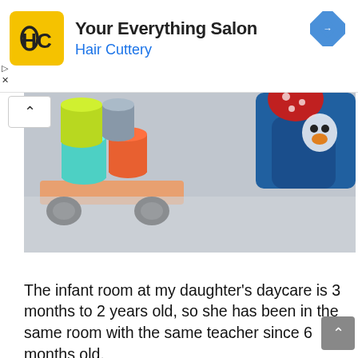[Figure (logo): Hair Cuttery advertisement banner with HC logo in yellow square, directions navigation icon, title 'Your Everything Salon' and subtitle 'Hair Cuttery']
[Figure (photo): Close-up photo of baby toys including colorful wooden cylindrical stacking toys on a light gray knit blanket, with a stuffed animal wearing blue socks visible in the upper right.]
The infant room at my daughter's daycare is 3 months to 2 years old, so she has been in the same room with the same teacher since 6 months old.
Since she has been thriving in the infant room, I can't help but wonder what this transition will have in store for us. It could be very smooth or it could be